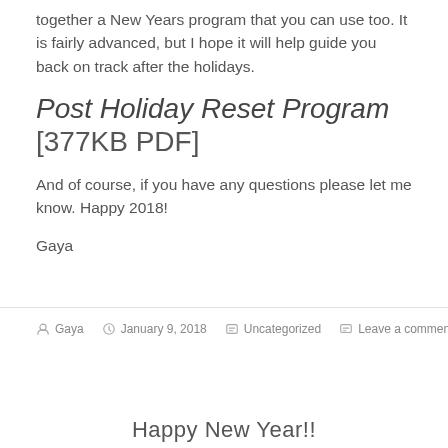together a New Years program that you can use too.  It is fairly advanced, but I hope it will help guide you back on track after the holidays.
Post Holiday Reset Program [377KB PDF]
And of course, if you have any questions please let me know. Happy 2018!
Gaya
By Gaya  |  January 9, 2018  |  Uncategorized  |  Leave a comment
Happy New Year!!